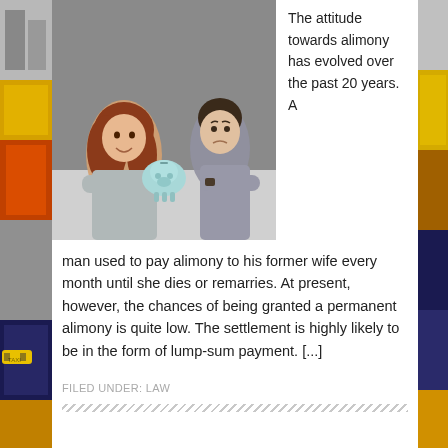[Figure (photo): A man and woman leaning on a table facing each other, with the woman smiling and hugging a light blue piggy bank. Both are wearing grey clothing. Background is grey. The scene suggests a divorce or alimony negotiation.]
The attitude towards alimony has evolved over the past 20 years. A man used to pay alimony to his former wife every month until she dies or remarries. At present, however, the chances of being granted a permanent alimony is quite low. The settlement is highly likely to be in the form of lump-sum payment. [...]
FILED UNDER: LAW